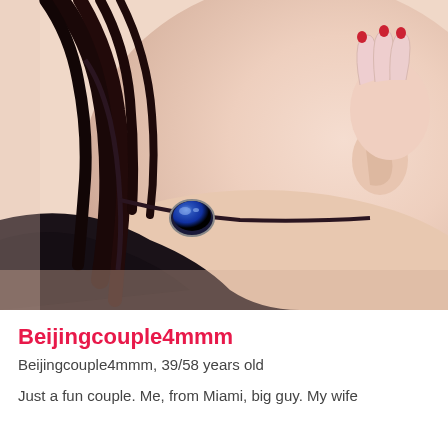[Figure (photo): Close-up photo of a person's neck and ear area. Dark hair, glasses with a blue gemstone/sapphire lens detail on the frame, wearing a dark top. A hand with red painted nails is visible near the ear. Light skin tones, soft focus background.]
Beijingcouple4mmm
Beijingcouple4mmm, 39/58 years old
Just a fun couple. Me, from Miami, big guy. My wife